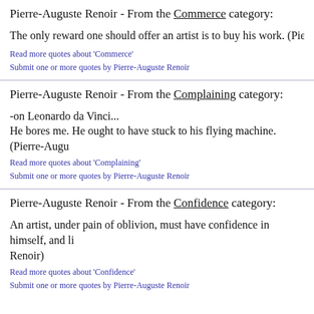Pierre-Auguste Renoir - From the Commerce category:
The only reward one should offer an artist is to buy his work. (Pierre-Au
Read more quotes about 'Commerce'
Submit one or more quotes by Pierre-Auguste Renoir
Pierre-Auguste Renoir - From the Complaining category:
-on Leonardo da Vinci...
He bores me. He ought to have stuck to his flying machine. (Pierre-Augu
Read more quotes about 'Complaining'
Submit one or more quotes by Pierre-Auguste Renoir
Pierre-Auguste Renoir - From the Confidence category:
An artist, under pain of oblivion, must have confidence in himself, and li
Renoir)
Read more quotes about 'Confidence'
Submit one or more quotes by Pierre-Auguste Renoir